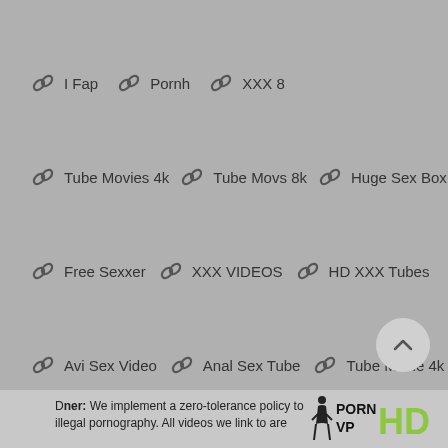I Fap   Pornh   XXX 8
Tube Movies 4k   Tube Movs 8k   Huge Sex Box
Free Sexxer   XXX VIDEOS   HD XXX Tubes
Avi Sex Video   Anal Sex Tube   Tube Movie 4k
Hole porn videos   Porn Free Tube   porntube
Disclaimer: We implement a zero-tolerance policy to illegal pornography. All videos we link to are
[Figure (logo): PORN VP HD logo with female silhouette]